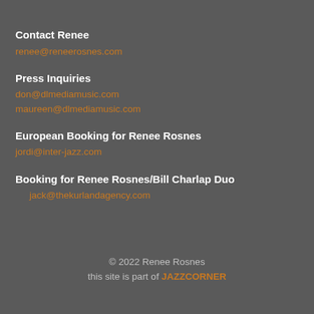Contact Renee
renee@reneerosnes.com
Press Inquiries
don@dlmediamusic.com
maureen@dlmediamusic.com
European Booking for Renee Rosnes
jordi@inter-jazz.com
Booking for Renee Rosnes/Bill Charlap Duo
jack@thekurlandagency.com
© 2022 Renee Rosnes
this site is part of JAZZCORNER